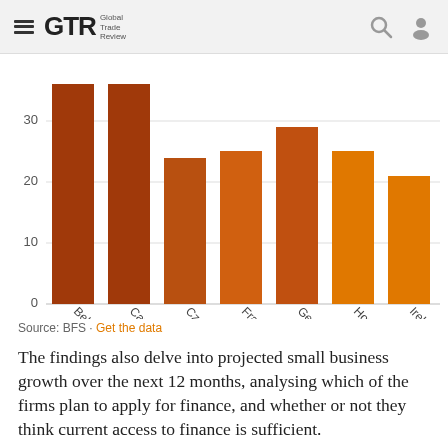GTR Global Trade Review
[Figure (bar-chart): ]
Source: BFS · Get the data
The findings also delve into projected small business growth over the next 12 months, analysing which of the firms plan to apply for finance, and whether or not they think current access to finance is sufficient.